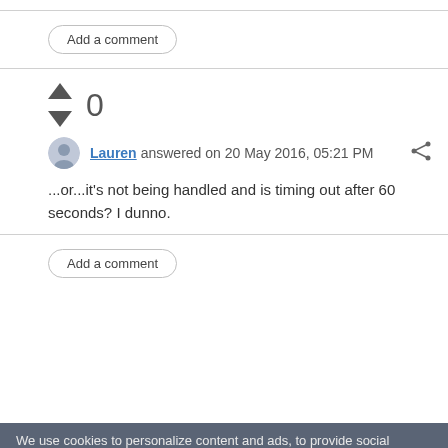Add a comment
[Figure (infographic): Vote up/down arrows with score 0]
Lauren answered on 20 May 2016, 05:21 PM
...or...it's not being handled and is timing out after 60 seconds? I dunno.
Add a comment
We use cookies to personalize content and ads, to provide social